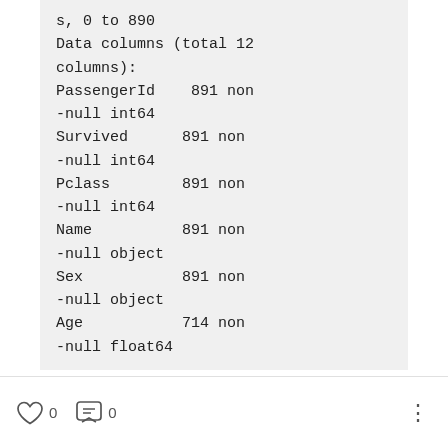s, 0 to 890
Data columns (total 12 columns):
PassengerId    891 non-null int64
Survived       891 non-null int64
Pclass         891 non-null int64
Name           891 non-null object
Sex            891 non-null object
Age            714 non-null float64
0  0  ...